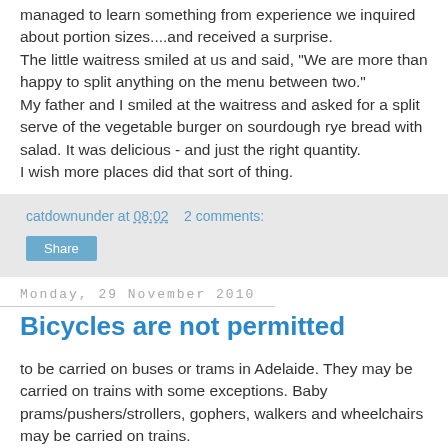managed to learn something from experience we inquired about portion sizes....and received a surprise.
The little waitress smiled at us and said, "We are more than happy to split anything on the menu between two."
My father and I smiled at the waitress and asked for a split serve of the vegetable burger on sourdough rye bread with salad. It was delicious - and just the right quantity.
I wish more places did that sort of thing.
catdownunder at 08:02   2 comments:
Share
Monday, 29 November 2010
Bicycles are not permitted
to be carried on buses or trams in Adelaide. They may be carried on trains with some exceptions. Baby prams/pushers/strollers, gophers, walkers and wheelchairs may be carried on trains.
Access to the train is made by the driver leaving his cabin